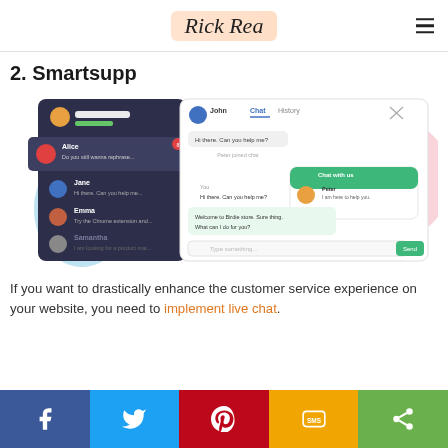Rick Rea
2. Smartsupp
[Figure (screenshot): Smartsupp live chat software interface showing a multi-panel chat dashboard with agent and customer conversation windows, chat history, and a chat widget popup.]
If you want to drastically enhance the customer service experience on your website, you need to implement live chat.
[Figure (infographic): Social sharing bar with five buttons: Facebook (blue), Twitter (light blue), Pinterest (red), SMS (yellow/gold), and Share (green).]